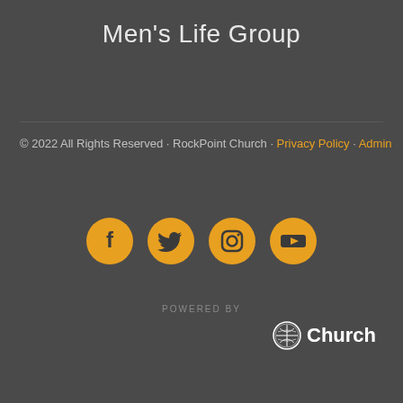Men's Life Group
© 2022 All Rights Reserved · RockPoint Church · Privacy Policy · Admin
[Figure (infographic): Four circular social media icons (Facebook, Twitter, Instagram, YouTube) with golden/amber background circles and dark icons]
POWERED BY
[Figure (logo): Church logo with tree icon and text 'Church' in white]